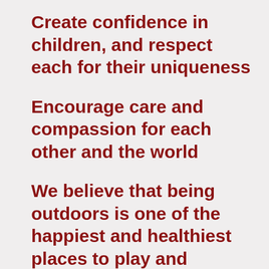Create confidence in children, and respect each for their uniqueness
Encourage care and compassion for each other and the world
We believe that being outdoors is one of the happiest and healthiest places to play and